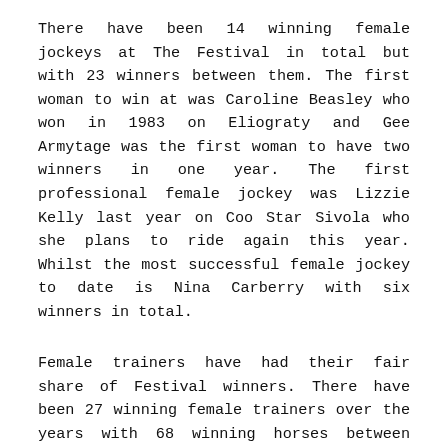There have been 14 winning female jockeys at The Festival in total but with 23 winners between them. The first woman to win at was Caroline Beasley who won in 1983 on Eliograty and Gee Armytage was the first woman to have two winners in one year. The first professional female jockey was Lizzie Kelly last year on Coo Star Sivola who she plans to ride again this year. Whilst the most successful female jockey to date is Nina Carberry with six winners in total.
Female trainers have had their fair share of Festival winners. There have been 27 winning female trainers over the years with 68 winning horses between them. The first was Jackie Brutton who trained Snowdra Queen to win in 1966. The most successful so far has been Irish trainer Jessica Harrington, with 11 winners in total, including training Sizing John to win the Gold Cheltenham Cup in 2017. Jenny Pitman was the first woman to train a Gold Cup winner, when Burrough Hill Lad won in 1984, one of two Gold Cup victories for Pitman. The second success came in 1991 when Garrison Savannah won, ridden by her son Mark Pitman. She was